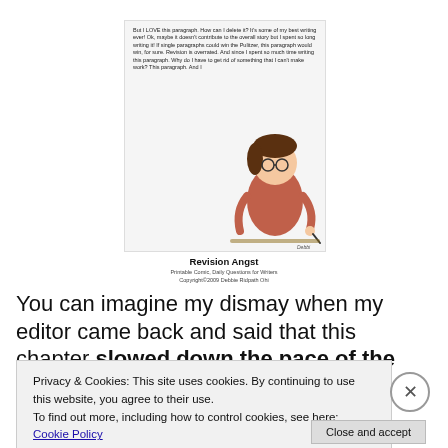[Figure (illustration): A comic illustration titled 'Revision Angst' showing a cartoon writer at a desk surrounded by text about loving a paragraph too much to delete it. Caption reads 'Revision Angst' with credit lines below.]
Revision Angst
Printable Comic, Daily Questions for Writers
Copyright©2009 Debbie Ridpath Ohi
You can imagine my dismay when my editor came back and said that this chapter slowed down the pace of the
Privacy & Cookies: This site uses cookies. By continuing to use this website, you agree to their use.
To find out more, including how to control cookies, see here: Cookie Policy